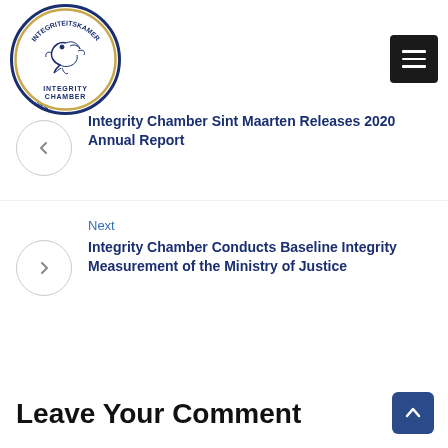[Figure (logo): Integrity Chamber Sint Maarten circular logo with bird/deer emblem]
Integrity Chamber Sint Maarten Releases 2020 Annual Report
Next
Integrity Chamber Conducts Baseline Integrity Measurement of the Ministry of Justice
Leave Your Comment